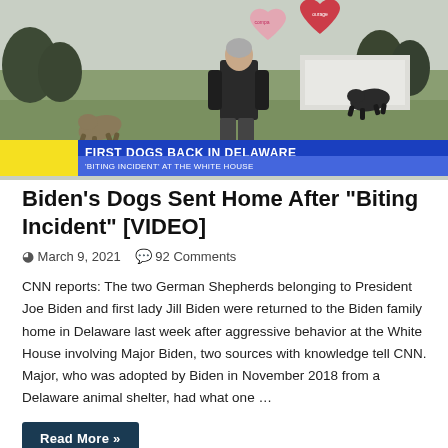[Figure (screenshot): News video screenshot showing two German Shepherds running on a lawn with a man in dark jacket standing, heart-shaped signs in background. Lower-third chyron reads 'FIRST DOGS BACK IN DELAWARE' and ''BITING INCIDENT' AT THE WHITE HOUSE']
Biden's Dogs Sent Home After "Biting Incident" [VIDEO]
March 9, 2021   92 Comments
CNN reports: The two German Shepherds belonging to President Joe Biden and first lady Jill Biden were returned to the Biden family home in Delaware last week after aggressive behavior at the White House involving Major Biden, two sources with knowledge tell CNN. Major, who was adopted by Biden in November 2018 from a Delaware animal shelter, had what one …
Read More »